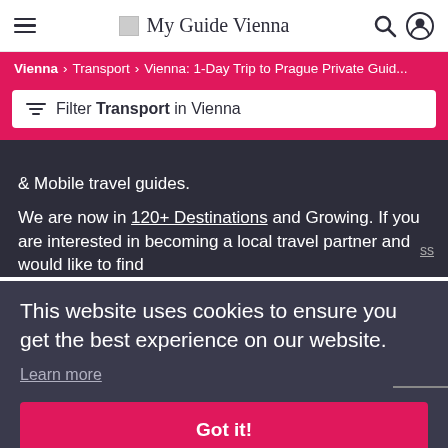My Guide Vienna
Vienna > Transport > Vienna: 1-Day Trip to Prague Private Guid...
Filter Transport in Vienna
& Mobile travel guides.
We are now in 120+ Destinations and Growing. If you are interested in becoming a local travel partner and would like to find
ss
This website uses cookies to ensure you get the best experience on our website.
Learn more
Got it!